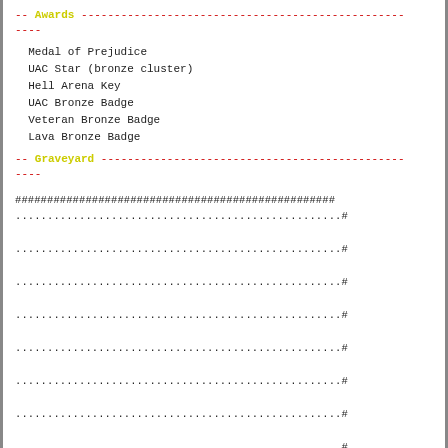-- Awards ----------------------------------------------------
----
Medal of Prejudice
UAC Star (bronze cluster)
Hell Arena Key
UAC Bronze Badge
Veteran Bronze Badge
Lava Bronze Badge
-- Graveyard -------------------------------------------------
----
###################################################...#
...................................................#
...................................................#
...................................................#
...................................................#
...................................................#
...................................................#
...................................................#
...................................................#
...................................................#
............................................X......#
...................................................#
................................................|..#